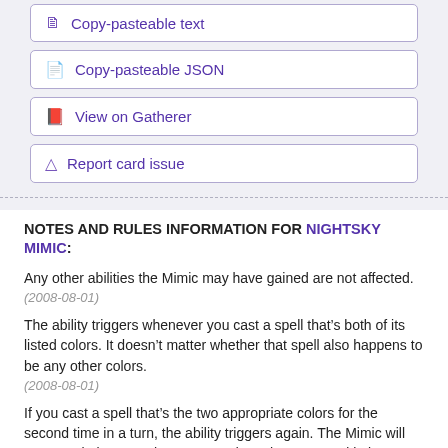Copy-pasteable text
Copy-pasteable JSON
View on Gatherer
Report card issue
NOTES AND RULES INFORMATION FOR NIGHTSKY MIMIC:
Any other abilities the Mimic may have gained are not affected.
(2008-08-01)
The ability triggers whenever you cast a spell that’s both of its listed colors. It doesn’t matter whether that spell also happens to be any other colors.
(2008-08-01)
If you cast a spell that’s the two appropriate colors for the second time in a turn, the ability triggers again. The Mimic will once again become the power and toughness stated in its ability, which could overwrite power- and toughness-setting effects that have been applied to it in the meantime.
(2008-08-01)